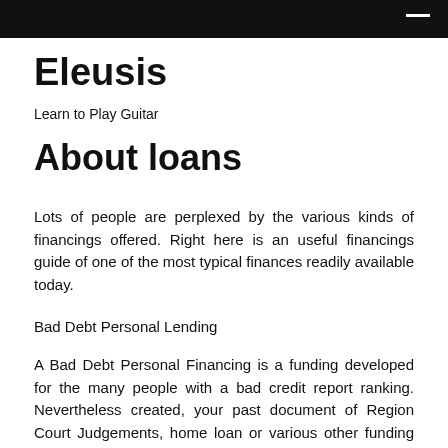Eleusis
Eleusis
Learn to Play Guitar
About loans
Lots of people are perplexed by the various kinds of financings offered. Right here is an useful financings guide of one of the most typical finances readily available today.
Bad Debt Personal Lending
A Bad Debt Personal Financing is a funding developed for the many people with a bad credit report ranking. Nevertheless created, your past document of Region Court Judgements, home loan or various other funding defaults can survive to refute you accessibility to